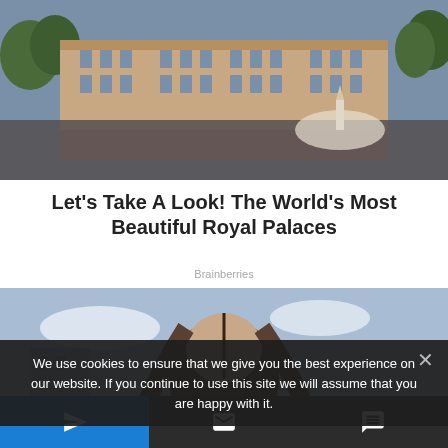[Figure (photo): Aerial photograph of Buckingham Palace with a large crowd gathered in front, showing the grand facade of the palace and Victoria Memorial]
Let's Take A Look! The World's Most Beautiful Royal Palaces
Brainberries
[Figure (photo): Partially visible photo of a person with long brown hair outdoors with a bluesky background]
We use cookies to ensure that we give you the best experience on our website. If you continue to use this site we will assume that you are happy with it.
Navigation bar with send, email, and chat icons